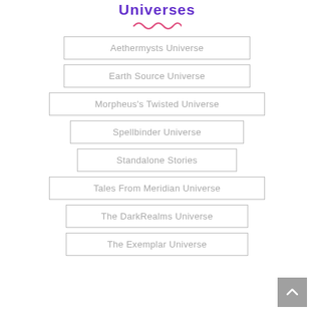Universes
Aethermysts Universe
Earth Source Universe
Morpheus's Twisted Universe
Spellbinder Universe
Standalone Stories
Tales From Meridian Universe
The DarkRealms Universe
The Exemplar Universe